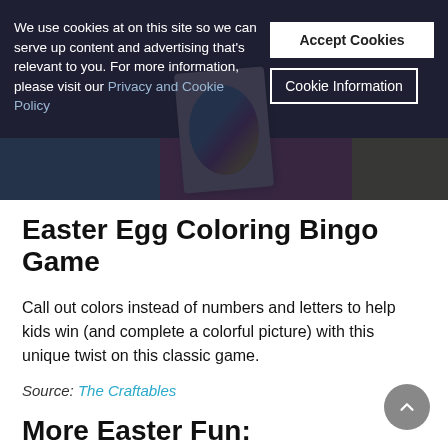[Figure (screenshot): Hero banner image showing colorful craft cards on blue, pink, and yellow backgrounds with dark overlay cookie consent banner]
We use cookies at on this site so we can serve up content and advertising that's relevant to you. For more information, please visit our Privacy and Cookie Policy
Accept Cookies
Cookie Information
Easter Egg Coloring Bingo Game
Call out colors instead of numbers and letters to help kids win (and complete a colorful picture) with this unique twist on this classic game.
Source: The Craftables
More Easter Fun: